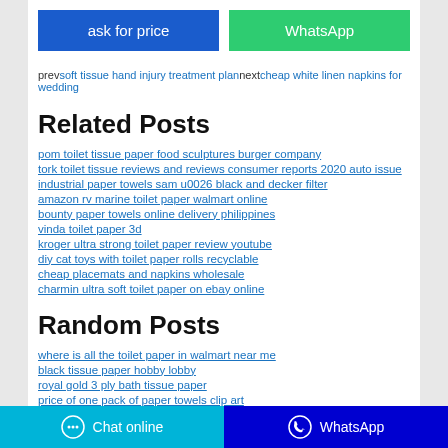ask for price
WhatsApp
prev soft tissue hand injury treatment plan next cheap white linen napkins for wedding
Related Posts
pom toilet tissue paper food sculptures burger company
tork toilet tissue reviews and reviews consumer reports 2020 auto issue
industrial paper towels sam u0026 black and decker filter
amazon rv marine toilet paper walmart online
bounty paper towels online delivery philippines
vinda toilet paper 3d
kroger ultra strong toilet paper review youtube
diy cat toys with toilet paper rolls recyclable
cheap placemats and napkins wholesale
charmin ultra soft toilet paper on ebay online
Random Posts
where is all the toilet paper in walmart near me
black tissue paper hobby lobby
royal gold 3 ply bath tissue paper
price of one pack of paper towels clip art
top rated toilet paper for septic systems cost in nevada state
the rolling paper depot
Chat online   WhatsApp